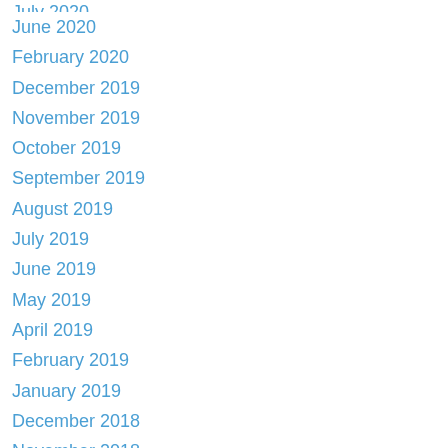July 2020 (partial)
June 2020
February 2020
December 2019
November 2019
October 2019
September 2019
August 2019
July 2019
June 2019
May 2019
April 2019
February 2019
January 2019
December 2018
November 2018
October 2018
September 2018
July 2018
June 2018
May 2018